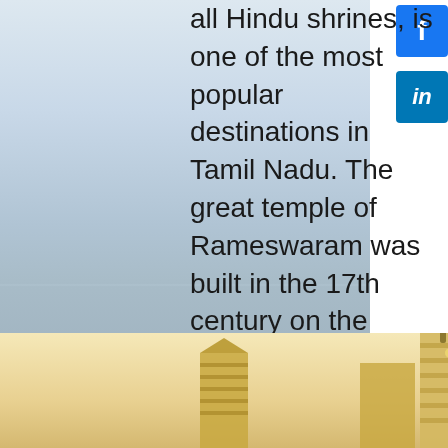[Figure (photo): Pale blue-grey sky and distant landscape visible on the left half of the page, and a temple photograph visible at the bottom.]
all Hindu shrines, is one of the most popular destinations in Tamil Nadu. The great temple of Rameswaram was built in the 17th century on the traditional site said to be sanctified by the god Rama's footprints when he crossed the island on his
[Figure (photo): Photograph of the Rameswaram temple with gopurams (towers) visible, taken at ground level showing ornate temple architecture.]